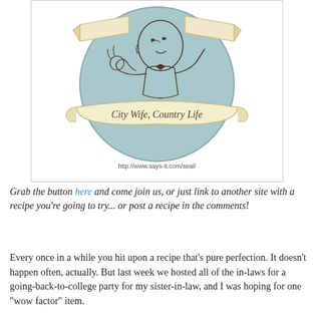[Figure (illustration): A circular badge/seal illustration with a light blue background showing a cartoon chef or happy man making an 'OK' gesture with his hand. The seal has decorative banner ribbons at the top and a cream/beige banner scroll across the middle-bottom reading 'City Wife, Country Life' in cursive script. Below the circle is printed 'http://www.says-it.com/seal/' in small text. The overall style is a vintage emblem or blog button.]
Grab the button here and come join us, or just link to another site with a recipe you're going to try... or post a recipe in the comments!
Every once in a while you hit upon a recipe that's pure perfection. It doesn't happen often, actually. But last week we hosted all of the in-laws for a going-back-to-college party for my sister-in-law, and I was hoping for one "wow factor" item.